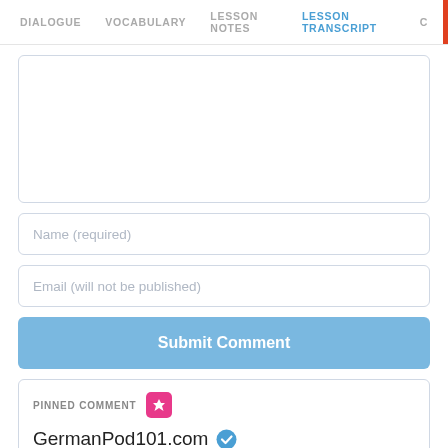DIALOGUE | VOCABULARY | LESSON NOTES | LESSON TRANSCRIPT | C
Name (required)
Email (will not be published)
Submit Comment
PINNED COMMENT
GermanPod101.com
2012-01-16 18:30:00
What city would you like to go in Germany?